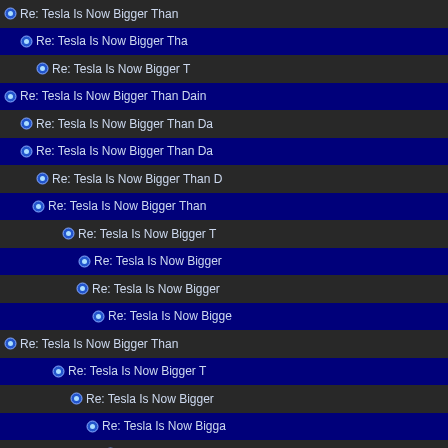[Figure (screenshot): A threaded discussion list showing nested replies titled 'Re: Tesla Is Now Bigger Than Dain...' with varying levels of indentation indicating reply depth. The left portion shows striped dark/navy blue column grid lines. The right portion shows a tree of thread replies with bullet icons and indentation levels increasing progressively downward.]